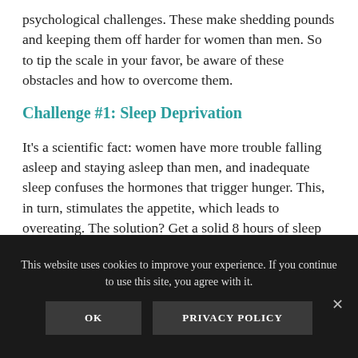psychological challenges. These make shedding pounds and keeping them off harder for women than men. So to tip the scale in your favor, be aware of these obstacles and how to overcome them.
Challenge #1: Sleep Deprivation
It’s a scientific fact: women have more trouble falling asleep and staying asleep than men, and inadequate sleep confuses the hormones that trigger hunger. This, in turn, stimulates the appetite, which leads to overeating. The solution? Get a solid 8 hours of sleep nightly, going to bed at the same hour and allowing
This website uses cookies to improve your experience. If you continue to use this site, you agree with it.
OK   PRIVACY POLICY